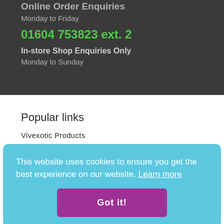Online Order Enquiries
Monday to Friday
01604 753823 ext. 2
In-store Shop Enquiries Only
Monday to Sunday
Popular links
Vivexotic Products
This website uses cookies to ensure you get the best experience on our website. Learn more
Got it!
Find...